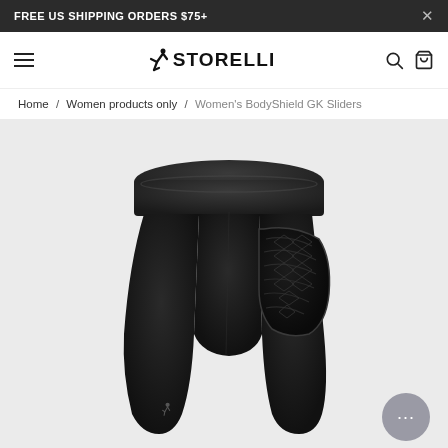FREE US SHIPPING ORDERS $75+
[Figure (logo): Storelli brand logo with running figure icon and STORELLI text]
Home / Women products only / Women's BodyShield GK Sliders
[Figure (photo): Women's BodyShield GK Sliders - black padded goalkeeper shorts with hip and thigh padding, shown on white/light grey background]